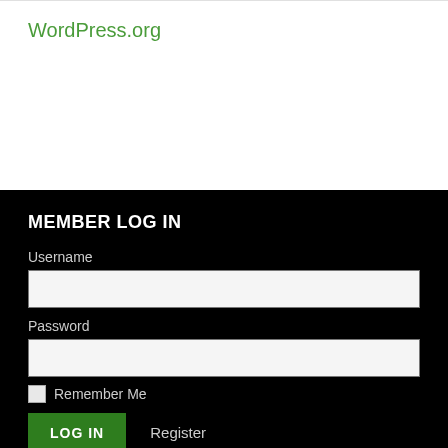WordPress.org
MEMBER LOG IN
Username
Password
Remember Me
LOG IN
Register
RECENT POSTS